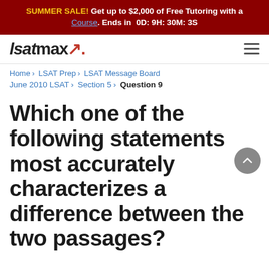SUMMER SALE! Get up to $2,000 of Free Tutoring with a Course. Ends in 0D: 9H: 30M: 3S
[Figure (logo): lsatmax logo with red arrow accent and hamburger menu icon]
Home > LSAT Prep > LSAT Message Board
June 2010 LSAT > Section 5 > Question 9
Which one of the following statements most accurately characterizes a difference between the two passages?